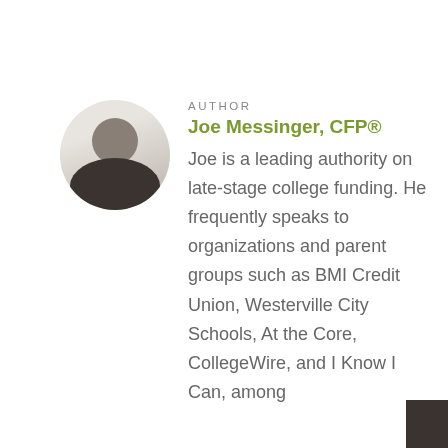[Figure (photo): Circular headshot photo of Joe Messinger, a man in a dark suit smiling]
AUTHOR
Joe Messinger, CFP®
Joe is a leading authority on late-stage college funding. He frequently speaks to organizations and parent groups such as BMI Credit Union, Westerville City Schools, At the Core, CollegeWire, and I Know I Can, among